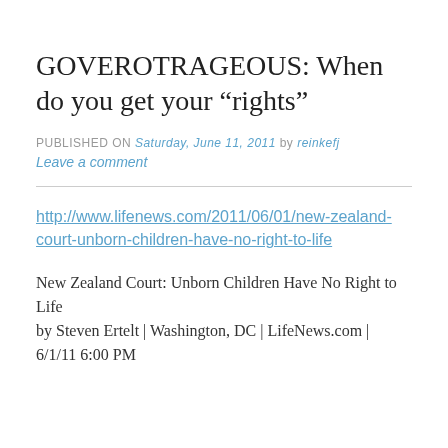GOVEROTRAGEOUS: When do you get your “rights”
PUBLISHED ON Saturday, June 11, 2011 by reinkefj
Leave a comment
http://www.lifenews.com/2011/06/01/new-zealand-court-unborn-children-have-no-right-to-life
New Zealand Court: Unborn Children Have No Right to Life
by Steven Ertelt | Washington, DC | LifeNews.com |
6/1/11 6:00 PM